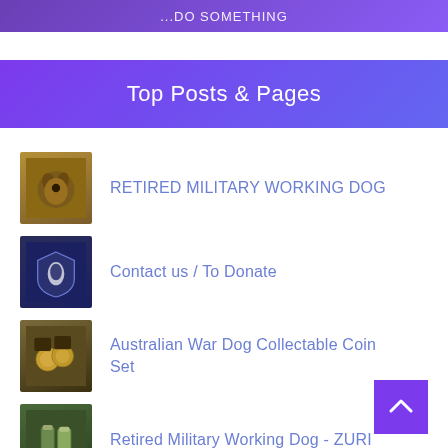...DO SOMETHING
Top Posts & Pages
RETIRED MILITARY WORKING DOG
Contact us / To Donate
Australian War Dog Collectable Coin Set
Retired Military Working Dog - ZURI
Nominating Your Animal Hero
How to Donate